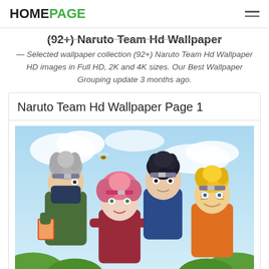HOMEPAGE
(92+) Naruto Team Hd Wallpaper
— Selected wallpaper collection (92+) Naruto Team Hd Wallpaper HD images in Full HD, 2K and 4K sizes. Our Best Wallpaper Grouping update 3 months ago.
Naruto Team Hd Wallpaper Page 1
[Figure (illustration): Anime illustration of the Naruto Team 7: Kakashi Hatake (left, gray hair, masked, holding a book), Sakura Haruno (center, pink hair, smiling), Sasuke Uchiha (back center, dark hair, blue shirt), and Naruto Uzumaki (right, blond hair, orange outfit). Background shows a light blue sky with clouds and green foliage.]